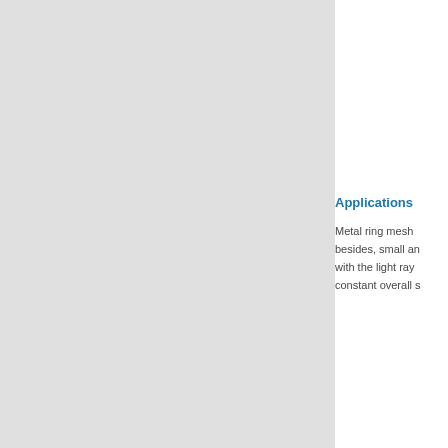[Figure (photo): Large grey rectangular area occupying the left portion of the page, representing an image placeholder or a product photo with a light grey background.]
Applications
Metal ring mesh besides, small an with the light ray constant overall s